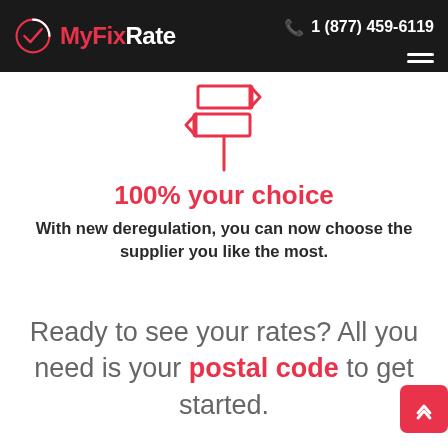MyFixRate  1 (877) 459-6119
[Figure (illustration): Red outline icon of two directional signpost arrows pointing in opposite directions, with a vertical pole underneath]
100% your choice
With new deregulation, you can now choose the supplier you like the most.
Ready to see your rates? All you need is your postal code to get started.